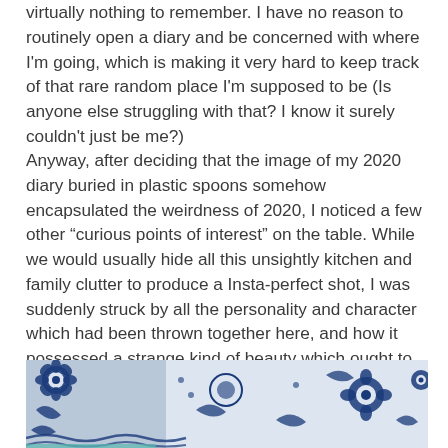virtually nothing to remember. I have no reason to routinely open a diary and be concerned with where I'm going, which is making it very hard to keep track of that rare random place I'm supposed to be (Is anyone else struggling with that? I know it surely couldn't just be me?)
Anyway, after deciding that the image of my 2020 diary buried in plastic spoons somehow encapsulated the weirdness of 2020, I noticed a few other “curious points of interest” on the table. While we would usually hide all this unsightly kitchen and family clutter to produce a Insta-perfect shot, I was suddenly struck by all the personality and character which had been thrown together here, and how it possessed a strange kind of beauty which ought to be shared before it was swept away like detritus on the beach.
[Figure (photo): Close-up photo of blue and white floral patterned ceramic or porcelain items, showing decorative flower and leaf motifs in dark blue on white background.]